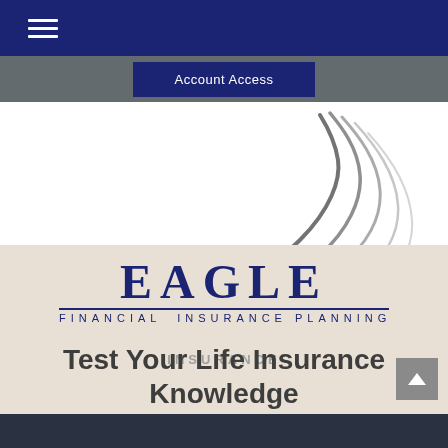Account Access
[Figure (logo): Eagle Financial Insurance logo with stylized eagle wing graphic and text 'EAGLE' in large navy serif letters, underline, 'FINANCIAL INSURANCE PLANNING' in navy spaced caps, and 'INSURANCE' overlaid in gray]
Test Your Life Insurance Knowledge